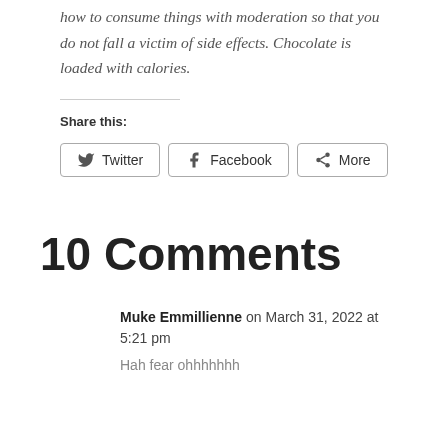how to consume things with moderation so that you do not fall a victim of side effects. Chocolate is loaded with calories.
Share this:
[Figure (other): Share buttons: Twitter, Facebook, More]
10 Comments
Muke Emmillienne on March 31, 2022 at 5:21 pm
Hah fear ohhhhhhh